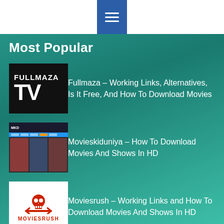Navigation menu button
Most Popular
[Figure (screenshot): Fullmaza TV logo - black background with FULLMAZA text and large TV letters in white]
Fullmaza – Working Links, Alternatives, Is It Free, And How To Download Movies
[Figure (screenshot): Movieskiduniya website screenshot showing dark navbar and movie posters]
Movieskiduniya – How To Download Movies And Shows In HD
[Figure (logo): Moviesrush logo - white background with red skull and crossbones icon and MOVIESRUSH text]
Moviesrush – Working Links and How To Download Movies And Shows In HD